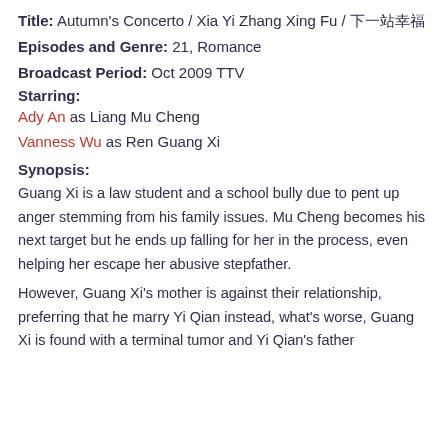Title: Autumn's Concerto / Xia Yi Zhang Xing Fu / 下一站幸福
Episodes and Genre: 21, Romance
Broadcast Period: Oct 2009 TTV
Starring:
Ady An as Liang Mu Cheng
Vanness Wu as Ren Guang Xi
Synopsis:
Guang Xi is a law student and a school bully due to pent up anger stemming from his family issues. Mu Cheng becomes his next target but he ends up falling for her in the process, even helping her escape her abusive stepfather.
However, Guang Xi's mother is against their relationship, preferring that he marry Yi Qian instead, what's worse, Guang Xi is found with a terminal tumor and Yi Qian's father